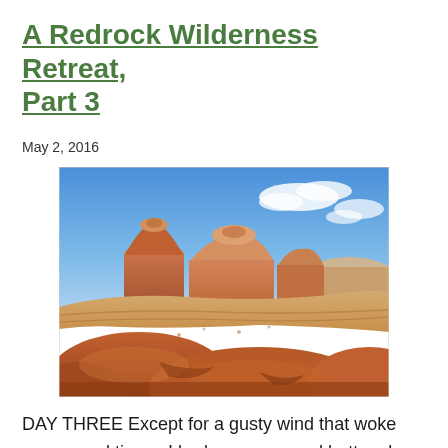A Redrock Wilderness Retreat, Part 3
May 2, 2016
[Figure (photo): A landscape photo of red rock formations under a bright blue sky with a few white clouds. The foreground shows smooth rounded redrock surfaces, with layered sandstone buttes rising in the middle ground.]
DAY THREE Except for a gusty wind that woke me several times, I had a warmer and better sleep last night. I climb out of the tent to a cloudless, desert